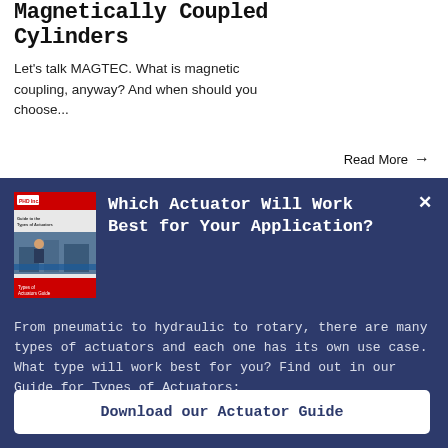Magnetically Coupled Cylinders
Let's talk MAGTEC. What is magnetic coupling, anyway? And when should you choose...
Read More →
[Figure (illustration): Book/guide cover image showing a worker with machinery and red/white cover design]
Which Actuator Will Work Best for Your Application?
From pneumatic to hydraulic to rotary, there are many types of actuators and each one has its own use case. What type will work best for you? Find out in our Guide for Types of Actuators:
Download our Actuator Guide